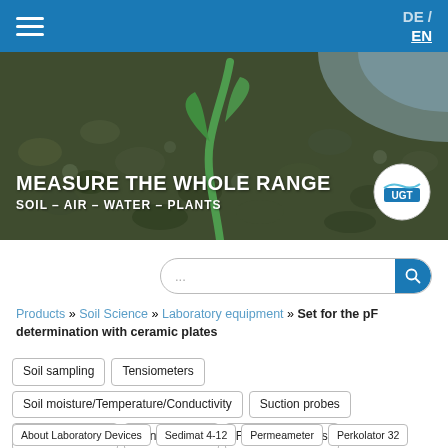DE / EN
[Figure (photo): Hero banner showing a green plant seedling sprouting from dark soil, with text 'MEASURE THE WHOLE RANGE' and 'SOIL – AIR – WATER – PLANTS', plus UGT logo]
Products » Soil Science » Laboratory equipment » Set for the pF determination with ceramic plates
Soil sampling
Tensiometers
Soil moisture/Temperature/Conductivity
Suction probes
Soil Respiration
Penetrometer
Field Instruments
Laboratory equipment
Erosion
About Laboratory Devices
Sedimat 4-12
Permeameter
Perkolator 32
San Andreas Soil Sieve Shaker
Overhead shaker
ku-pF-apparatus